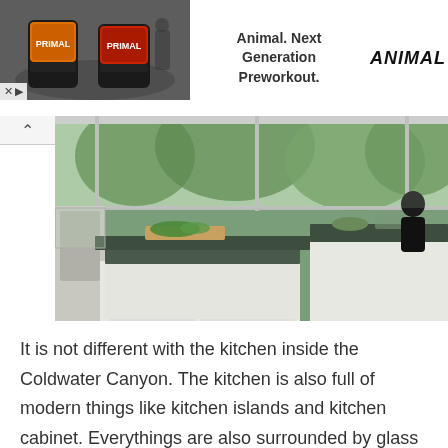[Figure (photo): Advertisement banner for Animal Primal Next Generation Preworkout supplements. Left side shows two orange and black supplement containers labeled PRIMAL in a gym setting. Center text reads 'Animal. Next Generation Preworkout.' Right side shows the ANIMAL logo in bold italic text.]
[Figure (photo): Modern kitchen interior with large glass windows and doors overlooking green trees. Features dark granite countertops, white cabinetry, a kitchen island with a cutting board and vegetables, and a person standing at the counter in the background.]
It is not different with the kitchen inside the Coldwater Canyon. The kitchen is also full of modern things like kitchen islands and kitchen cabinet. Everythings are also surrounded by glass door and wall to give you a nice view